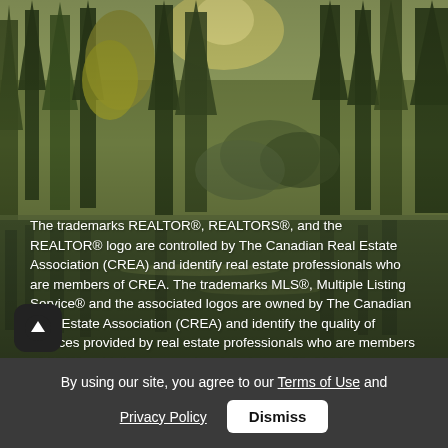[Figure (photo): Forest landscape with tall conifer trees and a reflective body of water, sunlight filtering through trees, autumn/winter tones with greens and muted yellows]
The trademarks REALTOR®, REALTORS®, and the REALTOR® logo are controlled by The Canadian Real Estate Association (CREA) and identify real estate professionals who are members of CREA. The trademarks MLS®, Multiple Listing Service® and the associated logos are owned by The Canadian Real Estate Association (CREA) and identify the quality of services provided by real estate professionals who are members of CREA. – Listing data updated on August 28, 2022.
Real Estate Website by RealtyNinja
Privacy Policy
By using our site, you agree to our Terms of Use and Privacy Policy
Dismiss